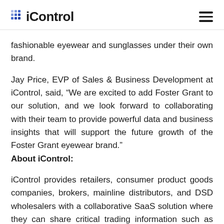iControl
fashionable eyewear and sunglasses under their own brand.
Jay Price, EVP of Sales & Business Development at iControl, said, “We are excited to add Foster Grant to our solution, and we look forward to collaborating with their team to provide powerful data and business insights that will support the future growth of the Foster Grant eyewear brand.”
About iControl:
iControl provides retailers, consumer product goods companies, brokers, mainline distributors, and DSD wholesalers with a collaborative SaaS solution where they can share critical trading information such as POS activity in a normalized, harmonized, secure web